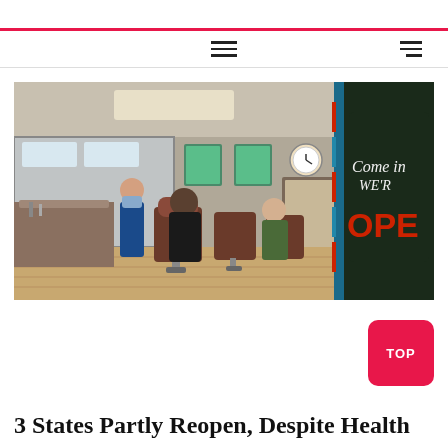[Figure (photo): Interior of a barbershop with a barber wearing a mask cutting a client's hair, several empty barber chairs, artwork on the walls including sports-themed pictures, a clock, and a 'Come in We're OPEN' sign visible through the door.]
TOP
3 States Partly Reopen, Despite Health